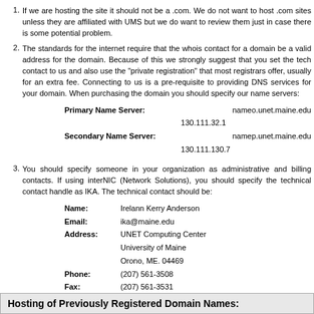If we are hosting the site it should not be a .com. We do not want to host .com sites unless they are affiliated with UMS but we do want to review them just in case there is some potential problem.
The standards for the internet require that the whois contact for a domain be a valid address for the domain. Because of this we strongly suggest that you set the tech contact to us and also use the "private registration" that most registrars offer, usually for an extra fee. Connecting to us is a pre-requisite to providing DNS services for your domain. When purchasing the domain you should specify our name servers: Primary Name Server: nameo.unet.maine.edu 130.111.32.1[x] Secondary Name Server: namep.unet.maine.edu 130.111.130.7[x]
You should specify someone in your organization as administrative and billing contacts. If using interNIC (Network Solutions), you should specify the technical contact handle as IKA. The technical contact should be: Name: Irelann Kerry Anderson Email: ika@maine.edu Address: UNET Computing Center University of Maine Orono, ME. 04469 Phone: (207) 561-3508 Fax: (207) 561-3531
As soon as you register any number of domain names, please let us know so we can update our system. You can either email MSLN@lists.maine.edu or call our help desk.
Hosting of Previously Registered Domain Names: